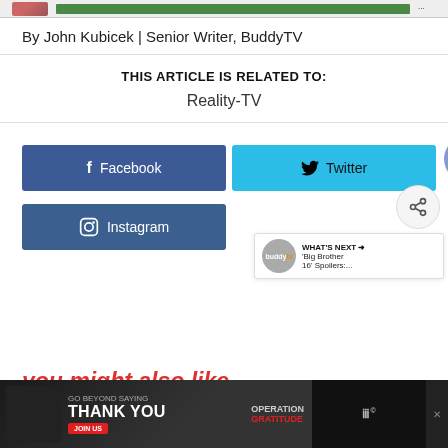[Figure (photo): Top bar with cropped author photo and green banner]
By John Kubicek | Senior Writer, BuddyTV
THIS ARTICLE IS RELATED TO:
Reality-TV
[Figure (infographic): Social share buttons: Facebook, Twitter, heart/like count (1), share icon, Instagram]
[Figure (infographic): WHAT'S NEXT → 'Big Brother 16' Spoilers:... with BuddyTV logo circle]
you might also like...
[Figure (photo): Advertisement banner: GO BEYOND SAYING THANK YOU - Operation Gratitude JOIN US]